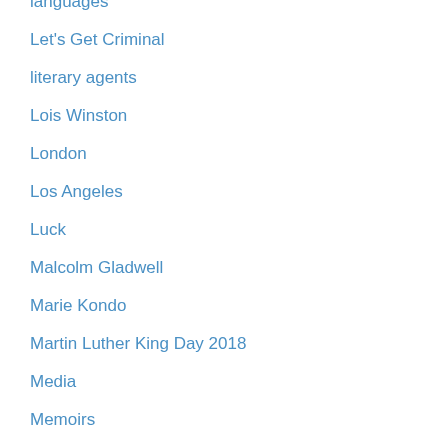languages
Let's Get Criminal
literary agents
Lois Winston
London
Los Angeles
Luck
Malcolm Gladwell
Marie Kondo
Martin Luther King Day 2018
Media
Memoirs
Memorial Day
Michigan
Michigan Book Awards
Michigan Notable Book Awards
Michiko Kakutani
Mother's Day